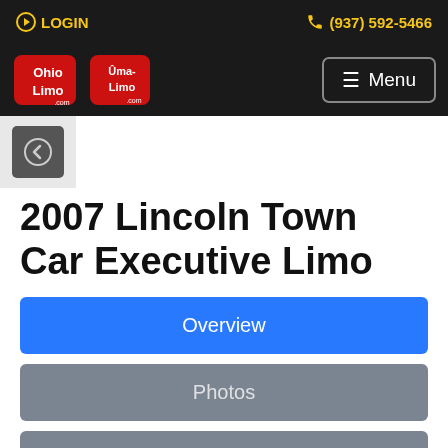LOGIN  (937) 592-5466
[Figure (logo): Ohio Limo and Uma-Limo logos on dark navigation bar with Menu button]
2007 Lincoln Town Car Executive Limo
Overview
Photos
Mobile QR Code
Map